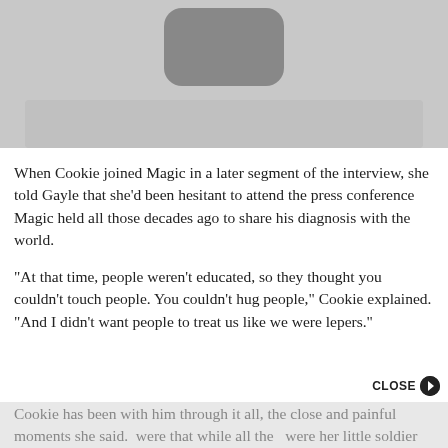[Figure (photo): Partial photo of a person, cropped, shown against a light gray background with a dark rounded rectangle shape visible at top.]
When Cookie joined Magic in a later segment of the interview, she told Gayle that she'd been hesitant to attend the press conference Magic held all those decades ago to share his diagnosis with the world.
“At that time, people weren’t educated, so they thought you couldn’t touch people. You couldn’t hug people,” Cookie explained. “And I didn’t want people to treat us like we were lepers.”
Cookie has been with him through it all, the close and painful moments she said. were that while all the were her little soldier